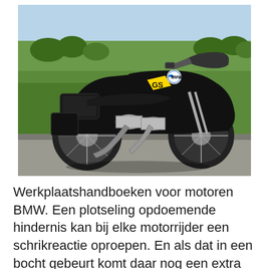[Figure (photo): A black BMW GS motorcycle parked outdoors on a paved surface, with green fields and trees in the background under a blue sky. The motorcycle has a top case on the rear, yellow GS decal on the tank, and chrome engine cylinders visible.]
Werkplaatshandboeken voor motoren BMW. Een plotseling opdoemende hindernis kan bij elke motorrijder een schrikreactie oproepen. En als dat in een bocht gebeurt komt daar nog een extra risico bij: de wielen kunnen gaan blokkeren, de motor wil rechtop gaan staan en is nauwelijks